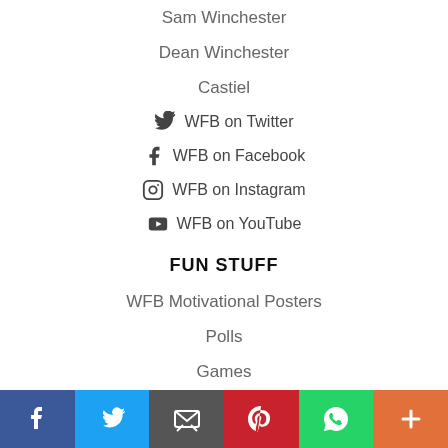Sam Winchester
Dean Winchester
Castiel
WFB on Twitter
WFB on Facebook
WFB on Instagram
WFB on YouTube
FUN STUFF
WFB Motivational Posters
Polls
Games
Video Page
[Figure (infographic): Bottom social sharing bar with icons for Facebook, Twitter, Email, Pinterest, WhatsApp, and More (+)]